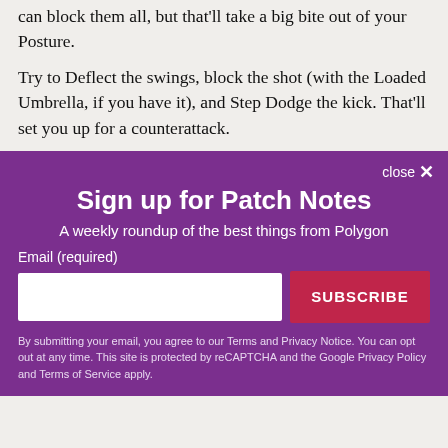can block them all, but that'll take a big bite out of your Posture.
Try to Deflect the swings, block the shot (with the Loaded Umbrella, if you have it), and Step Dodge the kick. That'll set you up for a counterattack.
Sign up for Patch Notes
A weekly roundup of the best things from Polygon
Email (required)
SUBSCRIBE
By submitting your email, you agree to our Terms and Privacy Notice. You can opt out at any time. This site is protected by reCAPTCHA and the Google Privacy Policy and Terms of Service apply.